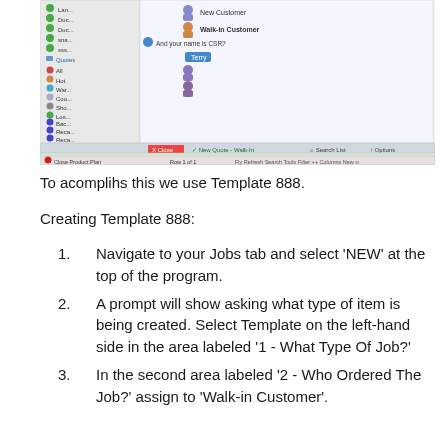[Figure (screenshot): Screenshot of a software application interface showing a sidebar with colored icons, lists of items including 'New Customer' and 'Walk-in Customer', and a main panel area with toolbar options including 'Close', 'New Quote - Walk-in', 'Search List', and 'Options'.]
To acomplihs this we use Template 888.
Creating Template 888:
Navigate to your Jobs tab and select 'NEW' at the top of the program.
A prompt will show asking what type of item is being created. Select Template on the left-hand side in the area labeled '1 - What Type Of Job?'
In the second area labeled '2 - Who Ordered The Job?' assign to 'Walk-in Customer'.